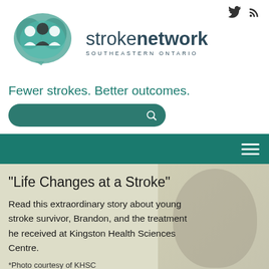[Figure (logo): Stroke Network Southeastern Ontario logo with teal brain graphic and three people silhouettes]
strokenetwork SOUTHEASTERN ONTARIO
Fewer strokes. Better outcomes.
[Figure (other): Search bar with teal background and magnifying glass icon]
[Figure (other): Teal navigation bar with hamburger menu icon]
"Life Changes at a Stroke"
Read this extraordinary story about young stroke survivor, Brandon, and the treatment he received at Kingston Health Sciences Centre.
*Photo courtesy of KHSC